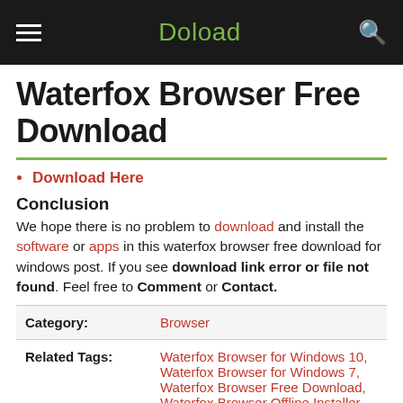Doload
Waterfox Browser Free Download
Download Here
Conclusion
We hope there is no problem to download and install the software or apps in this waterfox browser free download for windows post. If you see download link error or file not found. Feel free to Comment or Contact.
| Category: | Browser |
| --- | --- |
| Related Tags: | Waterfox Browser for Windows 10, Waterfox Browser for Windows 7, Waterfox Browser Free Download, Waterfox Browser Offline Installer |
Free Download, Waterfox Browser Offline Installer